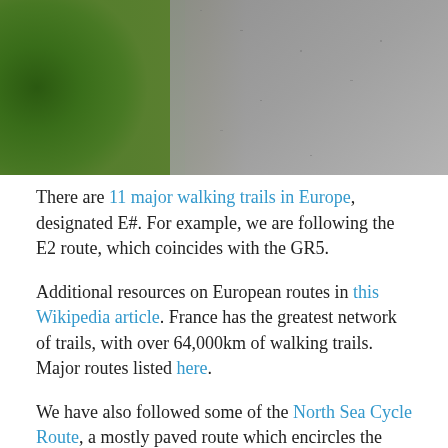[Figure (photo): Photo of a walking path with green grass on the left side and grey gravel/pavement on the right side]
There are 11 major walking trails in Europe, designated E#.  For example, we are following the E2 route, which coincides with the GR5.
Additional resources on European routes in this Wikipedia article.  France has the greatest network of trails, with over 64,000km of walking trails.  Major routes listed here.
We have also followed some of the North Sea Cycle Route, a mostly paved route which encircles the North